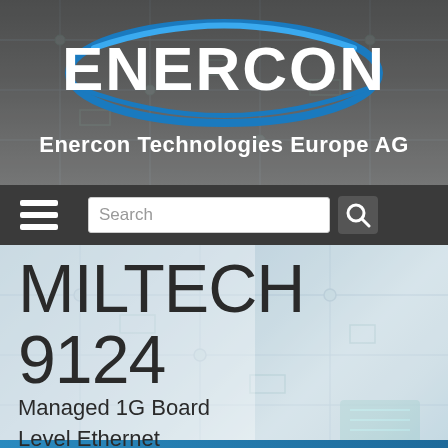[Figure (logo): Enercon logo — white bold uppercase ENERCON text inside a blue oval ellipse on a dark grey circuit-board textured background, with subtitle 'Enercon Technologies Europe AG' in white bold text below]
[Figure (screenshot): Navigation bar with hamburger menu icon (three white horizontal lines) on dark grey background and a search input field with magnifying glass button]
MILTECH 9124
Managed 1G Board Level Ethernet Switch/Router - 24 Port